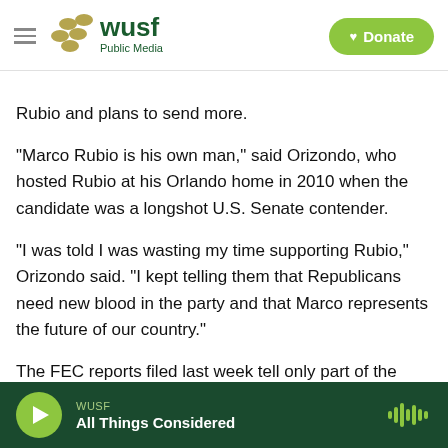WUSF Public Media — Donate
Rubio and plans to send more.
"Marco Rubio is his own man," said Orizondo, who hosted Rubio at his Orlando home in 2010 when the candidate was a longshot U.S. Senate contender.
"I was told I was wasting my time supporting Rubio," Orizondo said. "I kept telling them that Republicans need new blood in the party and that Marco represents the future of our country."
The FEC reports filed last week tell only part of the story.
WUSF — All Things Considered